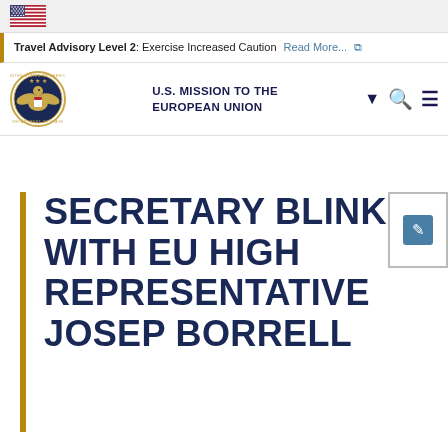[Figure (logo): US flag icon in top left corner]
Travel Advisory Level 2: Exercise Increased Caution Read More...
[Figure (logo): U.S. Department of State seal / eagle emblem]
U.S. MISSION TO THE EUROPEAN UNION
SECRETARY BLINKEN WITH EU HIGH REPRESENTATIVE JOSEP BORRELL